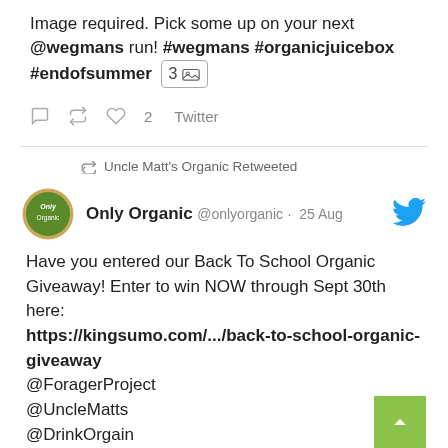Image required. Pick some up on your next @wegmans run! #wegmans #organicjuicebox #endofsummer [3 image]
reply retweet like 2 Twitter
Uncle Matt's Organic Retweeted
Only Organic @onlyorganic · 25 Aug
Have you entered our Back To School Organic Giveaway! Enter to win NOW through Sept 30th here: https://kingsumo.com/.../back-to-school-organic-giveaway @ForagerProject @UncleMatts @DrinkOrgain @lundbergfarms @seasnax @SunriseFoodsUSA